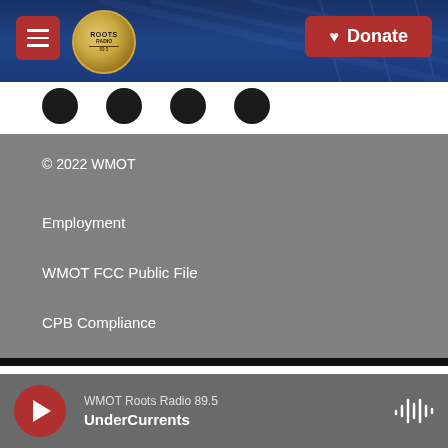WMOT Roots Radio — Donate
[Figure (screenshot): WMOT Roots Radio header with hamburger menu, logo, guitar background image, and red Donate button]
[Figure (infographic): Row of four dark circular social media icon buttons]
© 2022 WMOT
Employment
WMOT FCC Public File
CPB Compliance
Contact Us
Submit Music to WMOT
WMOT Roots Radio 89.5 — UnderCurrents